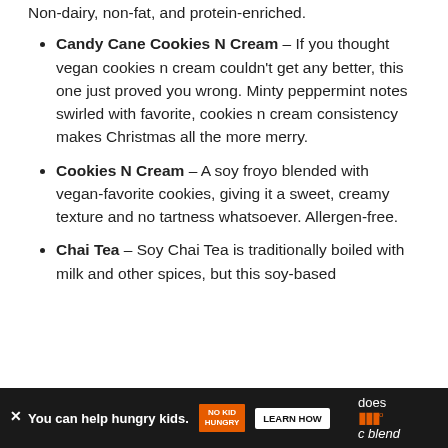Non-dairy, non-fat, and protein-enriched.
Candy Cane Cookies N Cream – If you thought vegan cookies n cream couldn't get any better, this one just proved you wrong. Minty peppermint notes swirled with favorite, cookies n cream consistency makes Christmas all the more merry.
Cookies N Cream – A soy froyo blended with vegan-favorite cookies, giving it a sweet, creamy texture and no tartness whatsoever. Allergen-free.
Chai Tea – Soy Chai Tea is traditionally boiled with milk and other spices, but this soy-based [continues below]
[Figure (other): Advertisement banner at bottom: dark background with 'You can help hungry kids.' text, No Kid Hungry logo, LEARN HOW button, and close X. Partially overlaid text on the right reads 'does' and 'ic blend'.]